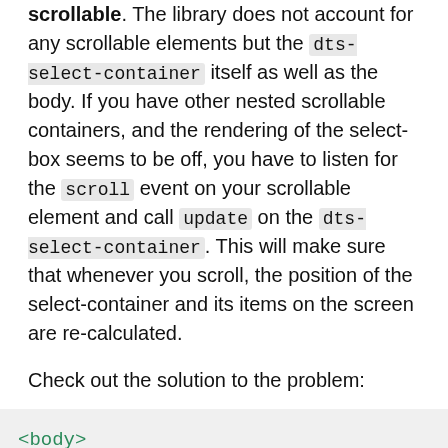scrollable. The library does not account for any scrollable elements but the dts-select-container itself as well as the body. If you have other nested scrollable containers, and the rendering of the select-box seems to be off, you have to listen for the scroll event on your scrollable element and call update on the dts-select-container. This will make sure that whenever you scroll, the position of the select-container and its items on the screen are re-calculated.
Check out the solution to the problem:
[Figure (screenshot): Code block showing HTML snippet with <body>, ..., and <div class="scrollable" (scroll)="c]